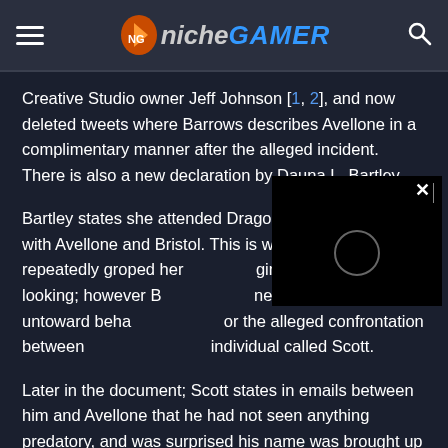Niche Gamer
Creative Studio owner Jeff Johnson [1, 2], and now deleted tweets where Barrows describes Avellone in a complimentary manner after the alleged incident. There is also a new declaration by Dauna L. Bartley.
Bartley states she attended Dragon Con 2014, along with Avellone and Bristol. This is whe[re] Avellone had repeatedly groped her [while his] girlfriend was not looking; however B[ristol admits] never witnessing any untoward beha[vior himself,] or the alleged confrontation between [Avellone and an] individual called Scott.
[Figure (other): Video player overlay with close button (X) and play circle button on black background]
Later in the document; Scott states in emails between him and Avellone that he had not seen anything predatory, and was surprised his name was brought up by others as a witness to the incident. He also